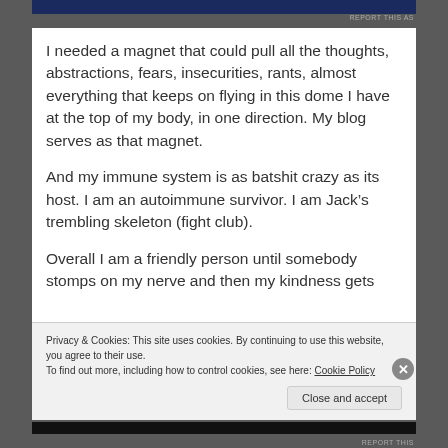I needed a magnet that could pull all the thoughts, abstractions, fears, insecurities, rants, almost everything that keeps on flying in this dome I have at the top of my body, in one direction. My blog serves as that magnet.
And my immune system is as batshit crazy as its host. I am an autoimmune survivor. I am Jack’s trembling skeleton (fight club).
Overall I am a friendly person until somebody stomps on my nerve and then my kindness gets
Privacy & Cookies: This site uses cookies. By continuing to use this website, you agree to their use.
To find out more, including how to control cookies, see here: Cookie Policy